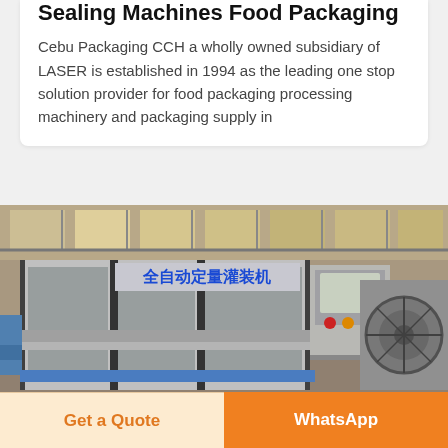Sealing Machines Food Packaging
Cebu Packaging CCH a wholly owned subsidiary of LASER is established in 1994 as the leading one stop solution provider for food packaging processing machinery and packaging supply in
[Figure (photo): Industrial photo of a large stainless steel automatic liquid filling machine (全自动定量灌装机) with Chinese text signage, inside a factory warehouse with large windows]
Get a Quote
WhatsApp